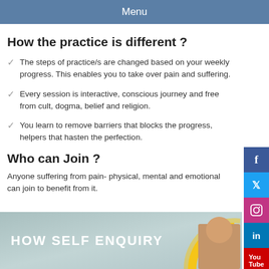Menu
How the practice is different ?
The steps of practice/s are changed based on your weekly progress. This enables you to take over pain and suffering.
Every session is interactive, conscious journey and free from cult, dogma, belief and religion.
You learn to remove barriers that blocks the progress, helpers that hasten the perfection.
Who can Join ?
Anyone suffering from pain- physical, mental and emotional can join to benefit from it.
[Figure (photo): Bottom banner with text HOW SELF ENQUIRY and a person meditating with a yellow arc, with social media sidebar icons (Facebook, Twitter, Instagram, LinkedIn, YouTube)]